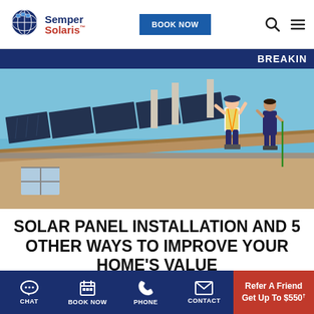[Figure (logo): Semper Solaris logo with globe icon and company name]
[Figure (other): BOOK NOW button in blue]
[Figure (other): Navigation icons: search and hamburger menu]
BREAKIN
[Figure (photo): Two workers in safety harnesses installing solar panels on a residential rooftop against a blue sky]
SOLAR PANEL INSTALLATION AND 5 OTHER WAYS TO IMPROVE YOUR HOME'S VALUE
[Figure (other): Bottom navigation bar with CHAT, BOOK NOW, PHONE, CONTACT icons and Refer A Friend Get Up To $550 promo in red]